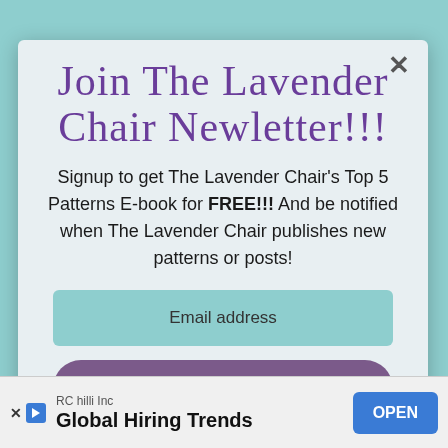Join The Lavender Chair Newletter!!!
Signup to get The Lavender Chair's Top 5 Patterns E-book for FREE!!! And be notified when The Lavender Chair publishes new patterns or posts!
Email address
Subscribe!
RC hilli Inc | Global Hiring Trends | OPEN